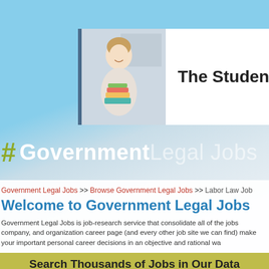[Figure (screenshot): Banner with photo of a smiling female student holding colorful books, with text 'The Student H' visible on white background with dark blue left border]
# Government Legal Jobs
Government Legal Jobs >> Browse Government Legal Jobs >> Labor Law Job
Welcome to Government Legal Jobs
Government Legal Jobs is job-research service that consolidate all of the jobs company, and organization career page (and every other job site we can find) make your important personal career decisions in an objective and rational wa
Search Thousands of Jobs in Our Data
What
Where